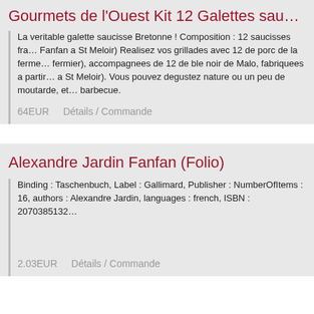Gourmets de l'Ouest Kit 12 Galettes sau…
La veritable galette saucisse Bretonne ! Composition : 12 saucisses fra… Fanfan a St Meloir) Realisez vos grillades avec 12 de porc de la ferme… fermier), accompagnees de 12 de ble noir de Malo, fabriquees a partir… a St Meloir). Vous pouvez degustez nature ou un peu de moutarde, et… barbecue.
64EUR    Détails / Commande
Alexandre Jardin Fanfan (Folio)
Binding : Taschenbuch, Label : Gallimard, Publisher : NumberOfItems : 16, authors : Alexandre Jardin, languages : french, ISBN : 2070385132…
2.03EUR    Détails / Commande